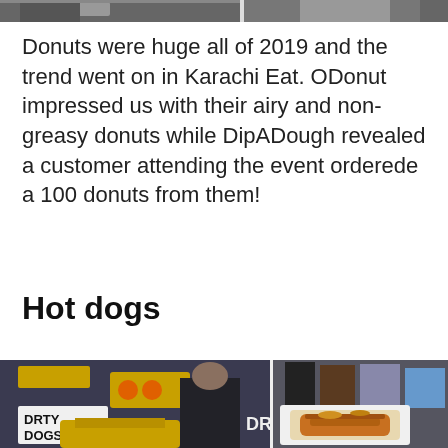[Figure (photo): Partial photo at the top of the page, cropped, showing dark/grey shapes at the top edge]
Donuts were huge all of 2019 and the trend went on in Karachi Eat. ODonut impressed us with their airy and non-greasy donuts while DipADough revealed a customer attending the event orderede a 100 donuts from them!
Hot dogs
[Figure (photo): Two side-by-side photos of hot dog food stalls at Karachi Eat. Left photo shows a 'DRTY DOGS' sign with food items. Right photo shows people at a food stall with a loaded hot dog in paper wrapping held up close to the camera.]